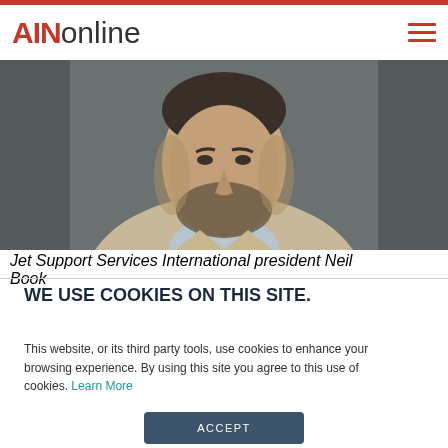AINonline
[Figure (photo): Portrait photo of Jet Support Services International president Neil Book, a man with dark beard wearing a light tan blazer and blue shirt against a gray background.]
Jet Support Services International president Neil Book
WE USE COOKIES ON THIS SITE.
This website, or its third party tools, use cookies to enhance your browsing experience. By using this site you agree to this use of cookies. Learn More
ACCEPT